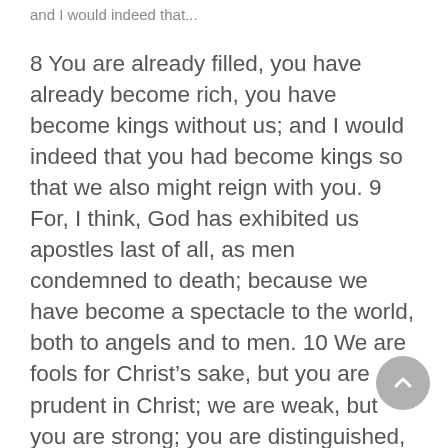and I would indeed that...
8 You are already filled, you have already become rich, you have become kings without us; and I would indeed that you had become kings so that we also might reign with you. 9 For, I think, God has exhibited us apostles last of all, as men condemned to death; because we have become a spectacle to the world, both to angels and to men. 10 We are fools for Christ’s sake, but you are prudent in Christ; we are weak, but you are strong; you are distinguished, but we are without honor. 11 To this present hour we are both hungry and thirsty, and are poorly clothed, and are roughly treated, and are homeless; 12 and we toil, working with our own hands; when we are reviled, we bless; when we